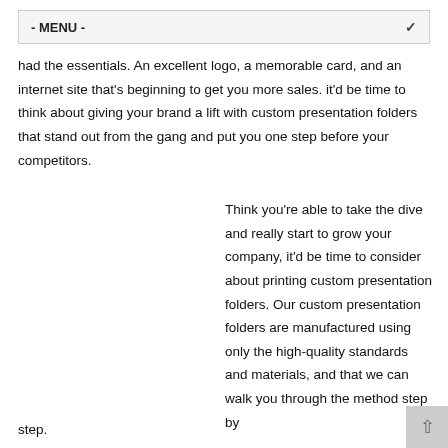- MENU -
had the essentials. An excellent logo, a memorable card, and an internet site that's beginning to get you more sales. it'd be time to think about giving your brand a lift with custom presentation folders that stand out from the gang and put you one step before your competitors.
Think you're able to take the dive and really start to grow your company, it'd be time to consider about printing custom presentation folders. Our custom presentation folders are manufactured using only the high-quality standards and materials, and that we can walk you through the method step by step.